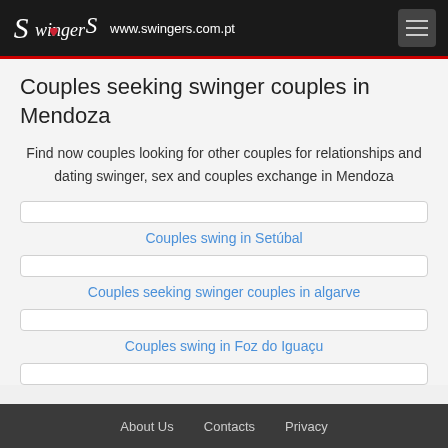Swingers www.swingers.com.pt
Couples seeking swinger couples in Mendoza
Find now couples looking for other couples for relationships and dating swinger, sex and couples exchange in Mendoza
Couples swing in Setúbal
Couples seeking swinger couples in algarve
Couples swing in Foz do Iguaçu
About Us  Contacts  Privacy